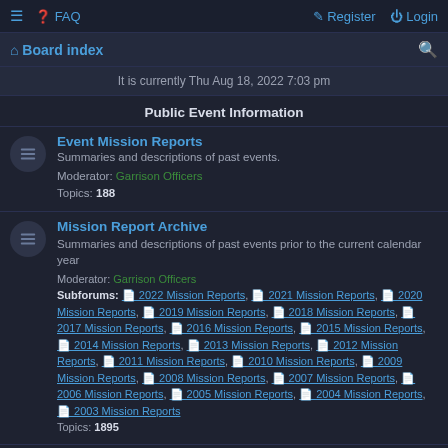FAQ | Register | Login | Board index
It is currently Thu Aug 18, 2022 7:03 pm
Public Event Information
Event Mission Reports
Summaries and descriptions of past events.
Moderator: Garrison Officers
Topics: 188
Mission Report Archive
Summaries and descriptions of past events prior to the current calendar year
Moderator: Garrison Officers
Subforums: 2022 Mission Reports, 2021 Mission Reports, 2020 Mission Reports, 2019 Mission Reports, 2018 Mission Reports, 2017 Mission Reports, 2016 Mission Reports, 2015 Mission Reports, 2014 Mission Reports, 2013 Mission Reports, 2012 Mission Reports, 2011 Mission Reports, 2010 Mission Reports, 2009 Mission Reports, 2008 Mission Reports, 2007 Mission Reports, 2006 Mission Reports, 2005 Mission Reports, 2004 Mission Reports, 2003 Mission Reports
Topics: 1895
Intra-Garrison Relations
Websites and forums for neighboring garrisons
Moderator: Garrison Officers
Topics: 21